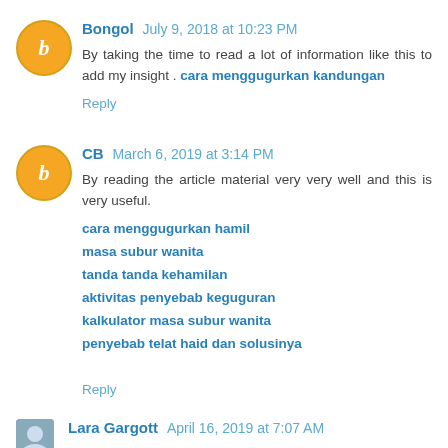Bongol July 9, 2018 at 10:23 PM
By taking the time to read a lot of information like this to add my insight . cara menggugurkan kandungan
Reply
CB March 6, 2019 at 3:14 PM
By reading the article material very very well and this is very useful.
cara menggugurkan hamil
masa subur wanita
tanda tanda kehamilan
aktivitas penyebab keguguran
kalkulator masa subur wanita
penyebab telat haid dan solusinya
Reply
Lara Gargott April 16, 2019 at 7:07 AM